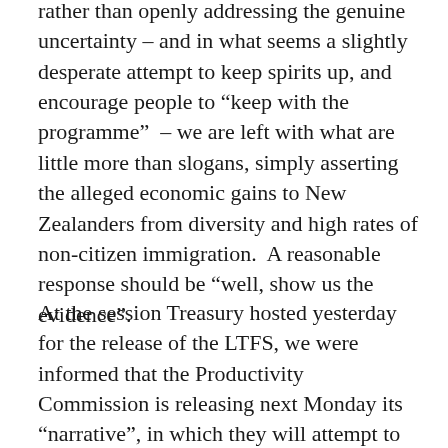rather than openly addressing the genuine uncertainty – and in what seems a slightly desperate attempt to keep spirits up, and encourage people to “keep with the programme” – we are left with what are little more than slogans, simply asserting the alleged economic gains to New Zealanders from diversity and high rates of non-citizen immigration.  A reasonable response should be “well, show us the evidence”.
At the session Treasury hosted yesterday for the release of the LTFS, we were informed that the Productivity Commission is releasing next Monday its “narrative”, in which they will attempt to explain why the New Zealand economy has underperformed for so long, and